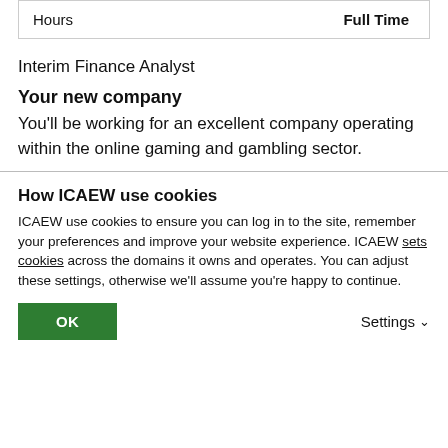| Hours | Full Time |
Interim Finance Analyst
Your new company
You'll be working for an excellent company operating within the online gaming and gambling sector.
How ICAEW use cookies
ICAEW use cookies to ensure you can log in to the site, remember your preferences and improve your website experience. ICAEW sets cookies across the domains it owns and operates. You can adjust these settings, otherwise we'll assume you're happy to continue.